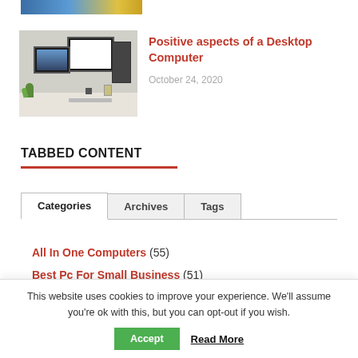[Figure (photo): Partial top image cropped at top of page]
[Figure (photo): Desktop computer setup with monitors and tower PC on desk]
Positive aspects of a Desktop Computer
October 24, 2020
TABBED CONTENT
Categories | Archives | Tags (tab navigation)
All In One Computers (55)
Best Pc For Small Business (51)
This website uses cookies to improve your experience. We'll assume you're ok with this, but you can opt-out if you wish.
Accept | Read More